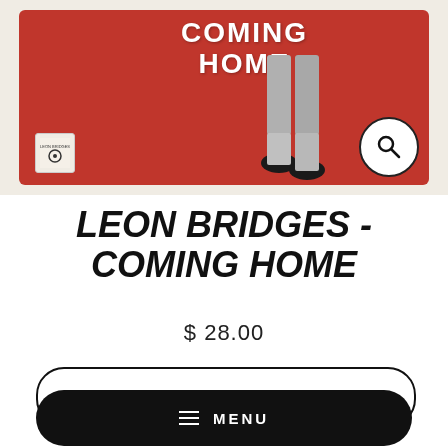[Figure (photo): Album cover for Leon Bridges - Coming Home, showing red background with white bold text 'COMING HOME' at top, lower body of a person in grey trousers and black shoes, small CBS Records label badge at bottom left, and a magnifying glass search icon at bottom right]
LEON BRIDGES - COMING HOME
$28.00
Add to cart
MENU